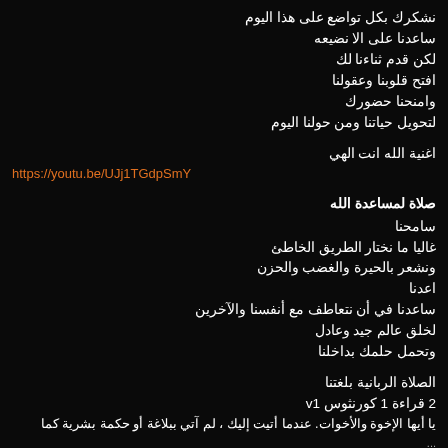نشكرك بكل تواضع على هذا اليوم
ساعدنا على الا نضيعه
لكن قدم ثناءنا لك
افتح قلوبنا وعقولنا
وامنحنا حضورك
لتحويل حياتنا ومن حولنا اليوم
اغنية الله انت الهي
https://youtu.be/UJj1TGdpSmY
صلاة لمساعدة الله
سامحنا
غاليا ما نختار الطريق الخاطئ
ونشعر بالحيرة والغضب والحزن
اعدنا
ساعدنا في أن نتعاطف مع أنفسنا والآخرين
لخلق عالم جيد وعادل
وتحمل حلمك بداخلنا
الصلاة الربانية بلغتنا
2 قراءة 1 كورنثوس v1
يا أيها الإخوة والأخوات، عندما أتيت إليك ، لم آتي ببلاغة أو حكمة بشرية كما